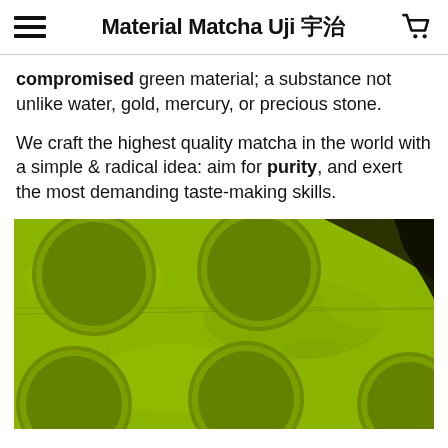Material Matcha Uji 宇治
compromised green material; a substance not unlike water, gold, mercury, or precious stone.
We craft the highest quality matcha in the world with a simple & radical idea: aim for purity, and exert the most demanding taste-making skills.
[Figure (photo): Close-up photograph of matcha green tea powder with circular imprints on a bright green textured surface with dark patches in upper right corner]